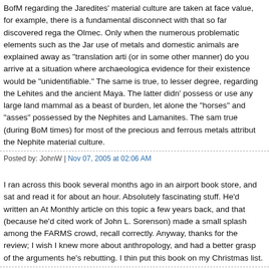BofM regarding the Jaredites' material culture are taken at face value, for example, there is a fundamental disconnect with that so far discovered regarding the Olmec. Only when the numerous problematic elements such as the Jaredites' use of metals and domestic animals are explained away as "translation artifacts" (or in some other manner) do you arrive at a situation where archaeological evidence for their existence would be "unidentifiable." The same is true, to a lesser degree, regarding the Lehites and the ancient Maya. The latter didn't possess or use any large land mammal as a beast of burden, let alone the "horses" and "asses" possessed by the Nephites and Lamanites. The same true (during BoM times) for most of the precious and ferrous metals attributed to the Nephite material culture.
Posted by: JohnW | Nov 07, 2005 at 02:06 AM
I ran across this book several months ago in an airport book store, and sat down and read it for about an hour. Absolutely fascinating stuff. He'd written an Atlantic Monthly article on this topic a few years back, and that (because he'd cited the work of John L. Sorenson) made a small splash among the FARMS crowd, if I recall correctly. Anyway, thanks for the review; I wish I knew more about anthropology, and had a better grasp of the arguments he's rebutting. I think I'll put this book on my Christmas list.
Posted by: Russell Arben Fox | Nov 07, 2005 at 08:51 AM